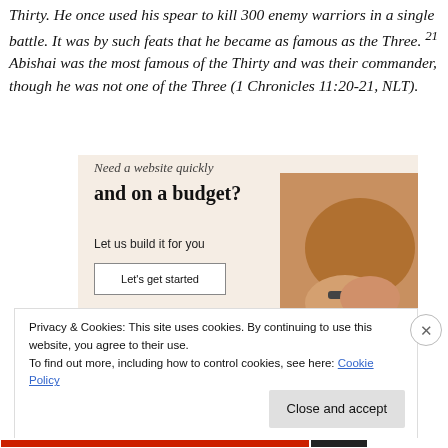Thirty. He once used his spear to kill 300 enemy warriors in a single battle. It was by such feats that he became as famous as the Three. 21 Abishai was the most famous of the Thirty and was their commander, though he was not one of the Three (1 Chronicles 11:20-21, NLT).
[Figure (other): Advertisement banner with beige/warm background. Partially visible italic text at top (truncated), then bold headline 'and on a budget?' with subtext 'Let us build it for you', a white button labeled 'Let's get started', and a circular-cropped photo of hands working on a device.]
Privacy & Cookies: This site uses cookies. By continuing to use this website, you agree to their use.
To find out more, including how to control cookies, see here: Cookie Policy
Close and accept